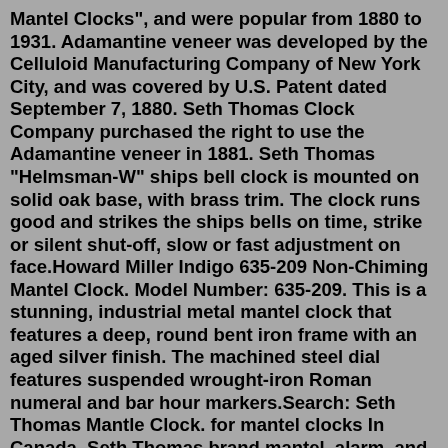Mantel Clocks", and were popular from 1880 to 1931. Adamantine veneer was developed by the Celluloid Manufacturing Company of New York City, and was covered by U.S. Patent dated September 7, 1880. Seth Thomas Clock Company purchased the right to use the Adamantine veneer in 1881. Seth Thomas "Helmsman-W" ships bell clock is mounted on solid oak base, with brass trim. The clock runs good and strikes the ships bells on time, strike or silent shut-off, slow or fast adjustment on face.Howard Miller Indigo 635-209 Non-Chiming Mantel Clock. Model Number: 635-209. This is a stunning, industrial metal mantel clock that features a deep, round bent iron frame with an aged silver finish. The machined steel dial features suspended wrought-iron Roman numeral and bar hour markers.Search: Seth Thomas Mantle Clock. for mantel clocks In Canada, Seth Thomas brand mantel, alarm, and wall clocks were made in the Westclox factory in Peterborough, Ontario from the early 1930s until the mid 1980s when the factory closed or